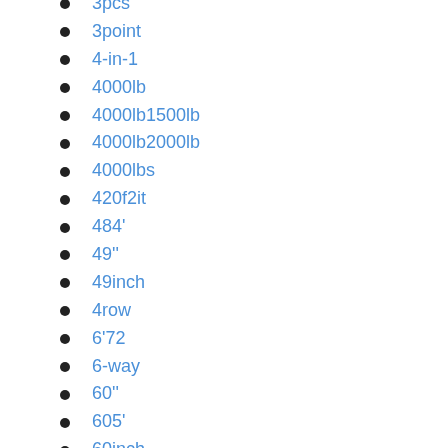3pcs
3point
4-in-1
4000lb
4000lb1500lb
4000lb2000lb
4000lbs
420f2it
484'
49"
49inch
4row
6'72
6-way
60"
605'
60inch
72-in
726'
adding
adjustable
allied